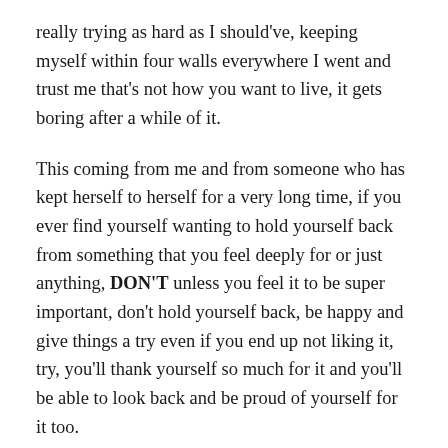really trying as hard as I should've, keeping myself within four walls everywhere I went and trust me that's not how you want to live, it gets boring after a while of it.
This coming from me and from someone who has kept herself to herself for a very long time, if you ever find yourself wanting to hold yourself back from something that you feel deeply for or just anything, DON'T unless you feel it to be super important, don't hold yourself back, be happy and give things a try even if you end up not liking it, try, you'll thank yourself so much for it and you'll be able to look back and be proud of yourself for it too.